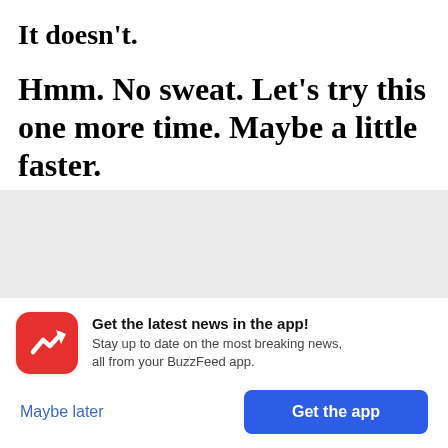It doesn't.
Hmm. No sweat. Let's try this one more time. Maybe a little faster.
[Figure (other): Gray loading/placeholder area with a partially visible gear spinner icon at the bottom]
Get the latest news in the app! Stay up to date on the most breaking news, all from your BuzzFeed app.
Maybe later
Get the app